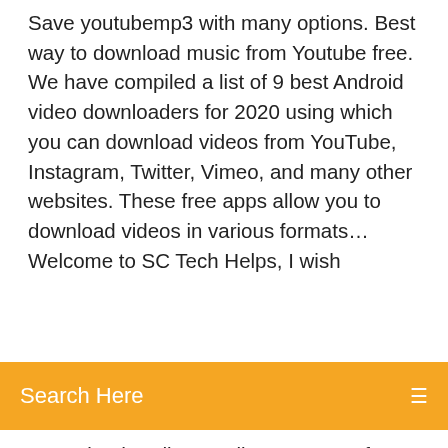Save youtubemp3 with many options. Best way to download music from Youtube free. We have compiled a list of 9 best Android video downloaders for 2020 using which you can download videos from YouTube, Instagram, Twitter, Vimeo, and many other websites. These free apps allow you to download videos in various formats… Welcome to SC Tech Helps, I wish
[Figure (screenshot): Orange search bar with text 'Search Here' and a search icon on the right]
rDownload Audio Equalizer - Best Software & Appshttps://en.softonic.com/downloads/audio-equalizerDownload Audio Equalizer . Free and safe download. Download the latest version of the top software, games, programs and apps in 2020. Download Audio Player For Android . Free and safe download. Download the latest version of the top software, games, programs and apps in 2020. Download Streaming Audio . Free and safe download. Download the latest version of the top software, games, programs and apps in 2020. Find the best apps like YouTube for Android. More than 20